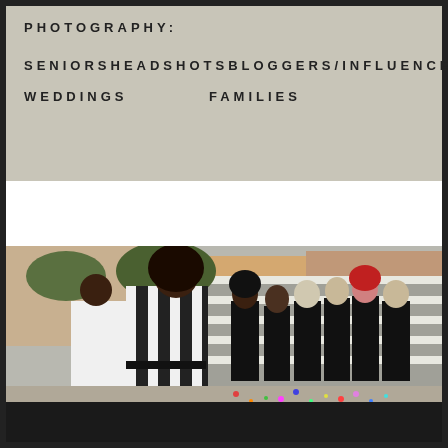PHOTOGRAPHY:
SENIORS
HEADSHOTS
BLOGGERS/INFLUENCERS
WEDDINGS
FAMILIES
[Figure (photo): A photographer in a black and white striped dress photographing a group of young women dressed in black on outdoor stairs, with colorful confetti on the ground.]